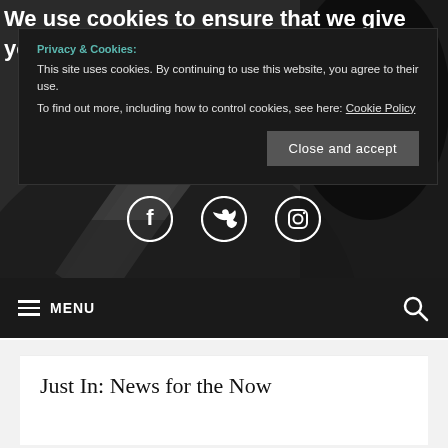We use cookies to ensure that we give you the best experience on our website.
Privacy & Cookies: This site uses cookies. By continuing to use this website, you agree to their use.
To find out more, including how to control cookies, see here: Cookie Policy
[Figure (infographic): Social media icons: Facebook, Twitter, Instagram on dark background]
MENU
Just In: News for the Now